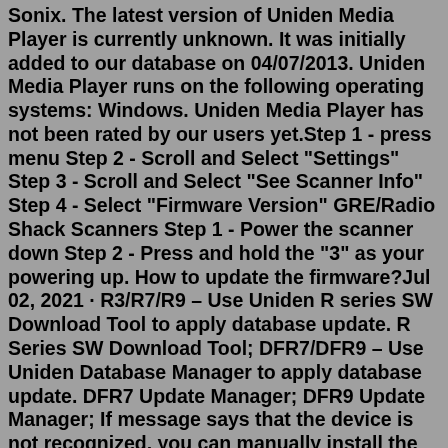Sonix. The latest version of Uniden Media Player is currently unknown. It was initially added to our database on 04/07/2013. Uniden Media Player runs on the following operating systems: Windows. Uniden Media Player has not been rated by our users yet.Step 1 - press menu Step 2 - Scroll and Select "Settings" Step 3 - Scroll and Select "See Scanner Info" Step 4 - Select "Firmware Version" GRE/Radio Shack Scanners Step 1 - Power the scanner down Step 2 - Press and hold the "3" as your powering up. How to update the firmware?Jul 02, 2021 · R3/R7/R9 – Use Uniden R series SW Download Tool to apply database update. R Series SW Download Tool; DFR7/DFR9 – Use Uniden Database Manager to apply database update. DFR7 Update Manager; DFR9 Update Manager; If message says that the device is not recognized, you can manually install the USB driver here: CP210x_Windows_Drivers.zip The included GPS allows the BearTracker 885 to automatically select nearby channels from its nationwide database without you having to lift a finger. Uniden updates